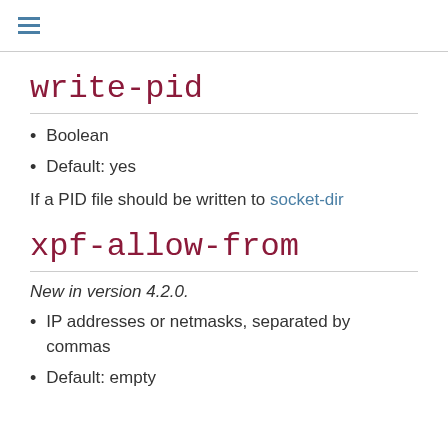≡
write-pid
Boolean
Default: yes
If a PID file should be written to socket-dir
xpf-allow-from
New in version 4.2.0.
IP addresses or netmasks, separated by commas
Default: empty